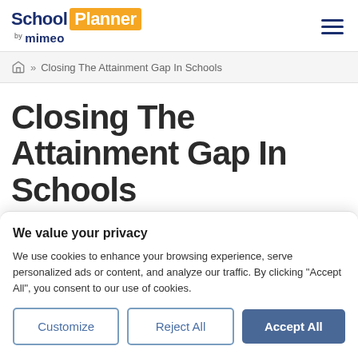School Planner by mimeo — navigation header with hamburger menu
» Closing The Attainment Gap In Schools
Closing The Attainment Gap In Schools
We value your privacy
We use cookies to enhance your browsing experience, serve personalized ads or content, and analyze our traffic. By clicking "Accept All", you consent to our use of cookies.
Customize | Reject All | Accept All